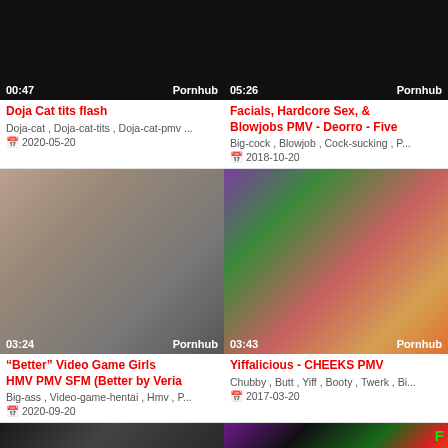[Figure (screenshot): Black video thumbnail with duration 00:47 and source Pornhub label]
Doja Cat tits flash
Doja-cat , Doja-cat-tits , Doja-cat-pmv ...
2020-05-20
[Figure (screenshot): Black video thumbnail with duration 05:26 and source Pornhub label]
Facials, Hardcore Sex, & Blowjobs PMV - Deorro - Five
Big-cock , Blowjob , Cock-sucking , P...
2018-10-20
[Figure (screenshot): Video thumbnail showing hands/skin close-up, duration 03:24, source Pornhub]
“Better” Video Game Girls HMV PMV SFM (Better by Veria
Big-ass , Video-game-hentai , Hmv , P...
2020-09-20
[Figure (screenshot): Video thumbnail showing animated cartoon figures, duration 03:43, source Pornhub]
Yiffalicious - CHEEKS PMV
Chubby , Butt , Yiff , Booty , Twerk , Bi...
2017-03-20
[Figure (screenshot): Partial bottom thumbnail showing face (left)]
[Figure (screenshot): Partial bottom thumbnail showing colorful graphic with TO and NE text (right)]